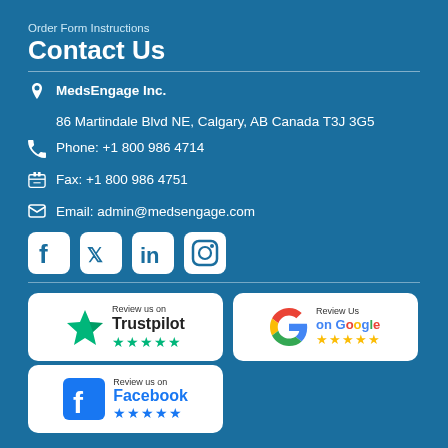Order Form Instructions
Contact Us
MedsEngage Inc.
86 Martindale Blvd NE, Calgary, AB Canada T3J 3G5
Phone: +1 800 986 4714
Fax: +1 800 986 4751
Email: admin@medsengage.com
[Figure (logo): Social media icons: Facebook, Twitter, LinkedIn, Instagram]
[Figure (logo): Review us on Trustpilot badge with 5 green stars]
[Figure (logo): Review Us on Google badge with 5 yellow stars]
[Figure (logo): Review us on Facebook badge with 5 blue stars]